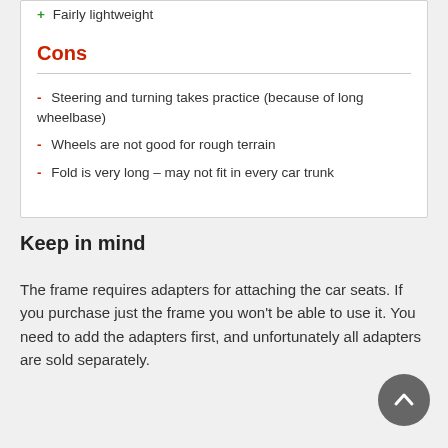+ Fairly lightweight
Cons
- Steering and turning takes practice (because of long wheelbase)
- Wheels are not good for rough terrain
- Fold is very long – may not fit in every car trunk
Keep in mind
The frame requires adapters for attaching the car seats. If you purchase just the frame you won't be able to use it. You need to add the adapters first, and unfortunately all adapters are sold separately.